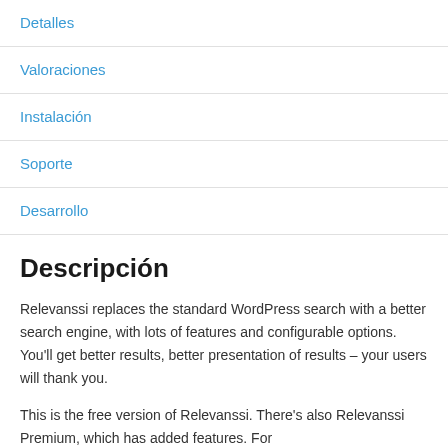Detalles
Valoraciones
Instalación
Soporte
Desarrollo
Descripción
Relevanssi replaces the standard WordPress search with a better search engine, with lots of features and configurable options. You'll get better results, better presentation of results – your users will thank you.
This is the free version of Relevanssi. There's also Relevanssi Premium, which has added features. For